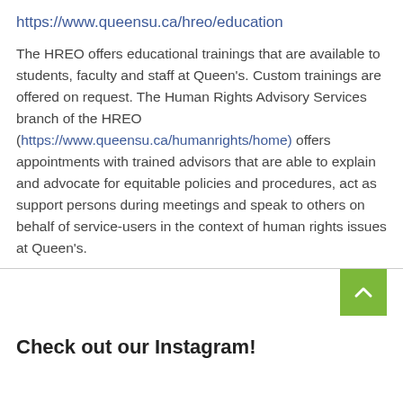https://www.queensu.ca/hreo/education
The HREO offers educational trainings that are available to students, faculty and staff at Queen's. Custom trainings are offered on request. The Human Rights Advisory Services branch of the HREO ( https://www.queensu.ca/humanrights/home) offers appointments with trained advisors that are able to explain and advocate for equitable policies and procedures, act as support persons during meetings and speak to others on behalf of service-users in the context of human rights issues at Queen's.
[Figure (other): Green scroll-to-top button with white upward chevron arrow]
Check out our Instagram!